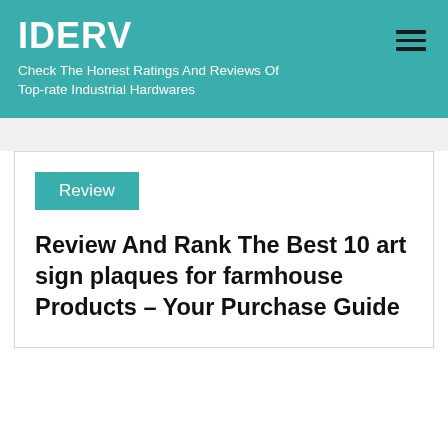IDERV
Check The Honest Ratings And Reviews Of Top-rate Industrial Hardwares
Review
Review And Rank The Best 10 art sign plaques for farmhouse Products – Your Purchase Guide